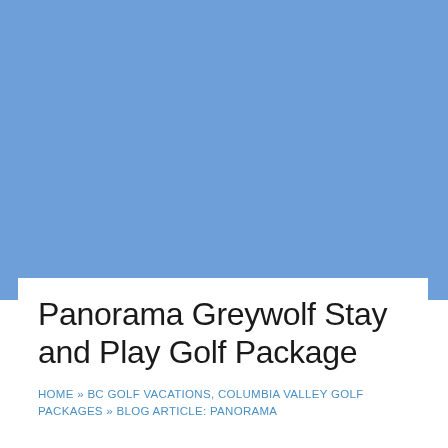[Figure (photo): Blue sky/landscape photo serving as hero image background, solid cornflower blue color]
Panorama Greywolf Stay and Play Golf Package
HOME » BC GOLF VACATIONS, COLUMBIA VALLEY GOLF PACKAGES » BLOG ARTICLE: PANORAMA